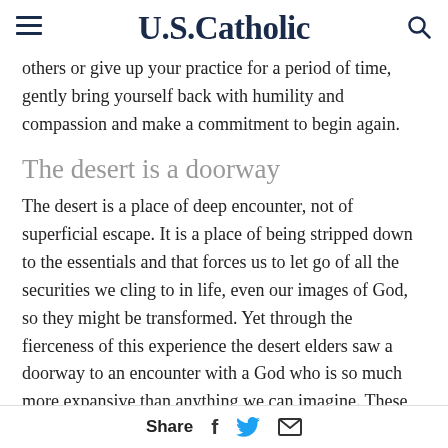U.S. Catholic
others or give up your practice for a period of time, gently bring yourself back with humility and compassion and make a commitment to begin again.
The desert is a doorway
The desert is a place of deep encounter, not of superficial escape. It is a place of being stripped down to the essentials and that forces us to let go of all the securities we cling to in life, even our images of God, so they might be transformed. Yet through the fierceness of this experience the desert elders saw a doorway to an encounter with a God who is so much more expansive than anything we can imagine. These
Share